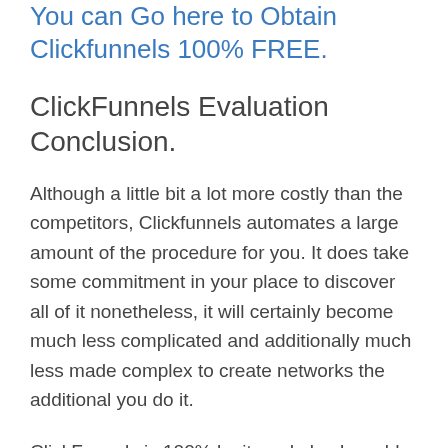You can Go here to Obtain Clickfunnels 100% FREE.
ClickFunnels Evaluation Conclusion.
Although a little bit a lot more costly than the competitors, Clickfunnels automates a large amount of the procedure for you. It does take some commitment in your place to discover all of it nonetheless, it will certainly become much less complicated and additionally much less made complex to create networks the additional you do it.
ClickFunnels is 100% legit, and also I would extremely suggest it. Also at $97/ month, have a look at simply just how much it is assisting your